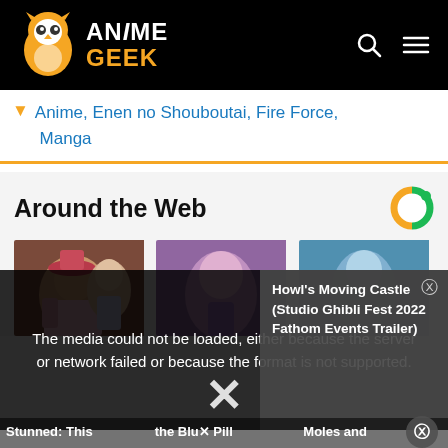Anime Geek
Anime, Enen no Shouboutai, Fire Force, Manga
Around the Web
[Figure (screenshot): Anime artwork thumbnail showing characters]
[Figure (screenshot): Anime character thumbnail]
Howl's Moving Castle (Studio Ghibli Fest 2022 Fathom Events Trailer)
The media could not be loaded, either because the server or network failed or because the format is not supported.
Stunned: This
the Blu X Pill
Moles and